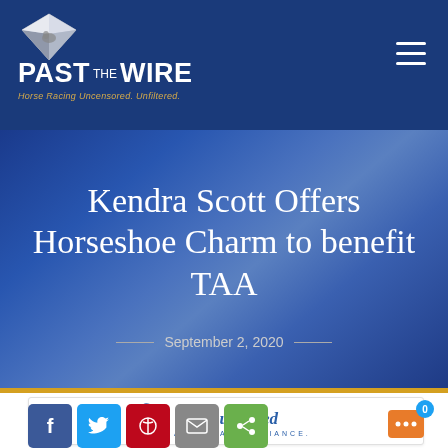Past The Wire — Horse Racing Uncensored. Unfiltered.
Kendra Scott Offers Horseshoe Charm to benefit TAA
September 2, 2020
[Figure (logo): Thoroughbred Aftercare Alliance logo]
[Figure (other): Social sharing buttons: Facebook, Twitter, Pinterest, Email, ShareThis]